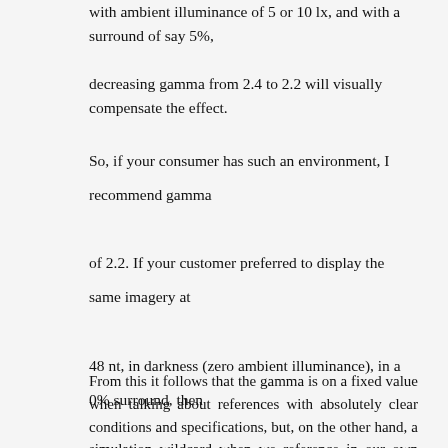with ambient illuminance of 5 or 10 lx, and with a surround of say 5%,
decreasing gamma from 2.4 to 2.2 will visually compensate the effect.
So, if your consumer has such an environment, I recommend gamma of 2.2. If your customer preferred to display the same imagery at 48 nt, in darkness (zero ambient illuminance), in a 0% surround, then gamma of 2.6 (as in digital cinema) might be appropriate. In a really, really bright environment, or with a really bright display (say 400 nt or 500 nt), decreasing gamma to 2.0 might be appropriate.
From this it follows that the gamma is on a fixed value when talking about references with absolutely clear conditions and specifications, but, on the other hand, a simulation wildcard when we reference in our own viewing conditions. Therefore, and can be suitable 2.0 and 2.2 and 2.3. It all depends on our